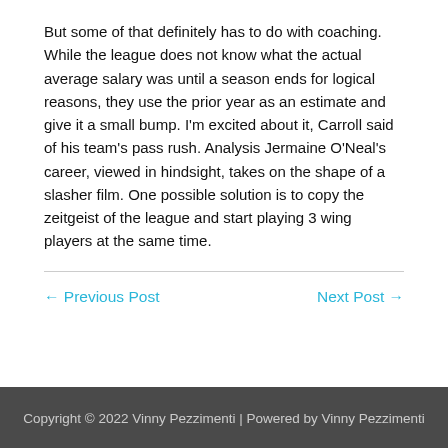But some of that definitely has to do with coaching. While the league does not know what the actual average salary was until a season ends for logical reasons, they use the prior year as an estimate and give it a small bump. I'm excited about it, Carroll said of his team's pass rush. Analysis Jermaine O'Neal's career, viewed in hindsight, takes on the shape of a slasher film. One possible solution is to copy the zeitgeist of the league and start playing 3 wing players at the same time.
← Previous Post
Next Post →
Copyright © 2022 Vinny Pezzimenti | Powered by Vinny Pezzimenti